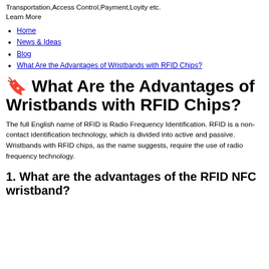Transportation,Access Control,Payment,Loyity etc.
Learn More
Home
News & Ideas
Blog
What Are the Advantages of Wristbands with RFID Chips?
🔖 What Are the Advantages of Wristbands with RFID Chips?
The full English name of RFID is Radio Frequency Identification. RFID is a non-contact identification technology, which is divided into active and passive. Wristbands with RFID chips, as the name suggests, require the use of radio frequency technology.
1. What are the advantages of the RFID NFC wristband?